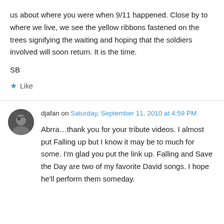us about where you were when 9/11 happened. Close by to where we live, we see the yellow ribbons fastened on the trees signifying the waiting and hoping that the soldiers involved will soon return. It is the time.
SB
★ Like
djafan on Saturday, September 11, 2010 at 4:59 PM
Abrra…thank you for your tribute videos. I almost put Falling up but I know it may be to much for some. I'm glad you put the link up. Falling and Save the Day are two of my favorite David songs. I hope he'll perform them someday.